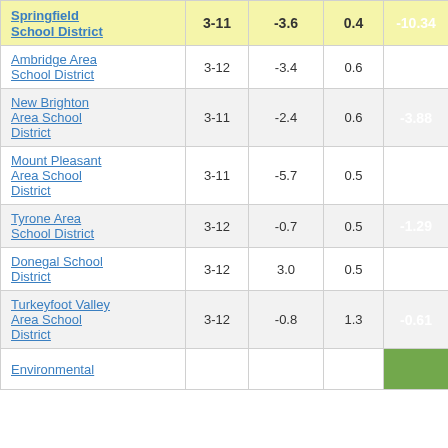| School District | Grades | Col3 | Col4 | Score |
| --- | --- | --- | --- | --- |
| Springfield School District | 3-11 | -3.6 | 0.4 | -10.34 |
| Ambridge Area School District | 3-12 | -3.4 | 0.6 | -6.08 |
| New Brighton Area School District | 3-11 | -2.4 | 0.6 | -3.88 |
| Mount Pleasant Area School District | 3-11 | -5.7 | 0.5 | -10.59 |
| Tyrone Area School District | 3-12 | -0.7 | 0.5 | -1.29 |
| Donegal School District | 3-12 | 3.0 | 0.5 | 6.51 |
| Turkeyfoot Valley Area School District | 3-12 | -0.8 | 1.3 | -0.61 |
| Environmental |  |  |  |  |